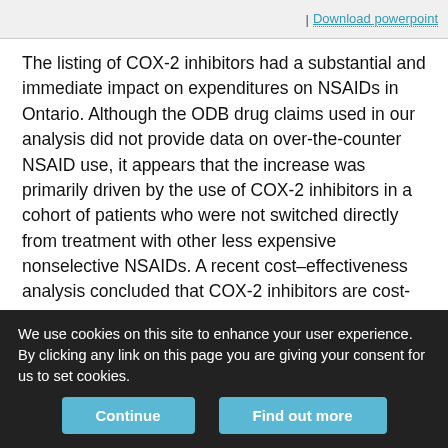| Download powerpoint
The listing of COX-2 inhibitors had a substantial and immediate impact on expenditures on NSAIDs in Ontario. Although the ODB drug claims used in our analysis did not provide data on over-the-counter NSAID use, it appears that the increase was primarily driven by the use of COX-2 inhibitors in a cohort of patients who were not switched directly from treatment with other less expensive nonselective NSAIDs. A recent cost–effectiveness analysis concluded that COX-2 inhibitors are cost-effective relative to nonselective NSAIDs when used by very elderly patients with an average risk of significant upper gastrointestinal events or ulcers or by younger patients with a high risk of significant upper
We use cookies on this site to enhance your user experience. By clicking any link on this page you are giving your consent for us to set cookies.